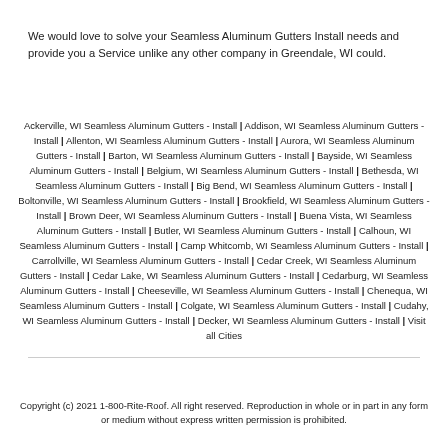We would love to solve your Seamless Aluminum Gutters Install needs and provide you a Service unlike any other company in Greendale, WI could.
Ackerville, WI Seamless Aluminum Gutters - Install | Addison, WI Seamless Aluminum Gutters - Install | Allenton, WI Seamless Aluminum Gutters - Install | Aurora, WI Seamless Aluminum Gutters - Install | Barton, WI Seamless Aluminum Gutters - Install | Bayside, WI Seamless Aluminum Gutters - Install | Belgium, WI Seamless Aluminum Gutters - Install | Bethesda, WI Seamless Aluminum Gutters - Install | Big Bend, WI Seamless Aluminum Gutters - Install | Boltonville, WI Seamless Aluminum Gutters - Install | Brookfield, WI Seamless Aluminum Gutters - Install | Brown Deer, WI Seamless Aluminum Gutters - Install | Buena Vista, WI Seamless Aluminum Gutters - Install | Butler, WI Seamless Aluminum Gutters - Install | Calhoun, WI Seamless Aluminum Gutters - Install | Camp Whitcomb, WI Seamless Aluminum Gutters - Install | Carrollville, WI Seamless Aluminum Gutters - Install | Cedar Creek, WI Seamless Aluminum Gutters - Install | Cedar Lake, WI Seamless Aluminum Gutters - Install | Cedarburg, WI Seamless Aluminum Gutters - Install | Cheeseville, WI Seamless Aluminum Gutters - Install | Chenequa, WI Seamless Aluminum Gutters - Install | Colgate, WI Seamless Aluminum Gutters - Install | Cudahy, WI Seamless Aluminum Gutters - Install | Decker, WI Seamless Aluminum Gutters - Install | Visit all Cities
Copyright (c) 2021 1-800-Rite-Roof. All right reserved. Reproduction in whole or in part in any form or medium without express written permission is prohibited.